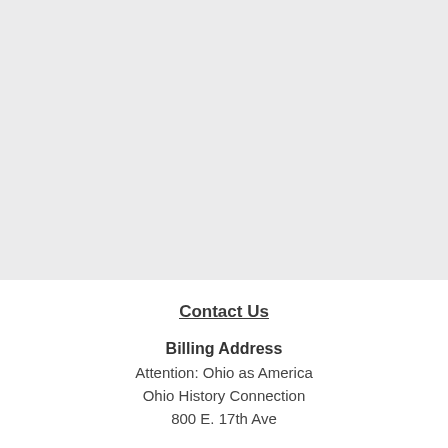[Figure (photo): Large light grey textured background image taking up the top portion of the page]
Contact Us
Billing Address
Attention: Ohio as America
Ohio History Connection
800 E. 17th Ave